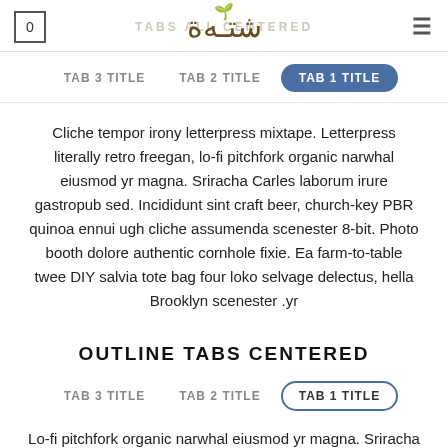0 | TABS ALL CENTERED (logo) ≡
TAB 3 TITLE  TAB 2 TITLE  TAB 1 TITLE
Cliche tempor irony letterpress mixtape. Letterpress literally retro freegan, lo-fi pitchfork organic narwhal eiusmod yr magna. Sriracha Carles laborum irure gastropub sed. Incididunt sint craft beer, church-key PBR quinoa ennui ugh cliche assumenda scenester 8-bit. Photo booth dolore authentic cornhole fixie. Ea farm-to-table twee DIY salvia tote bag four loko selvage delectus, hella Brooklyn scenester .yr
OUTLINE TABS CENTERED
TAB 3 TITLE  TAB 2 TITLE  TAB 1 TITLE
Lo-fi pitchfork organic narwhal eiusmod yr magna. Sriracha